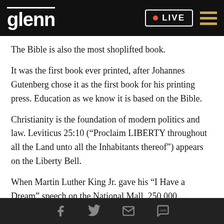glenn | LIVE
The Bible is also the most shoplifted book.
It was the first book ever printed, after Johannes Gutenberg chose it as the first book for his printing press. Education as we know it is based on the Bible.
Christianity is the foundation of modern politics and law. Leviticus 25:10 (“Proclaim LIBERTY throughout all the Land unto all the Inhabitants thereof”) appears on the Liberty Bell.
When Martin Luther King Jr. gave his “I Have a Dream” speech on the National Mall, 250,000...
Facebook | Twitter | Email | SMS